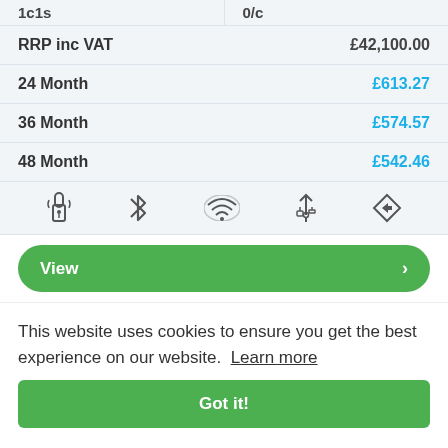|  |  |
| --- | --- |
| RRP inc VAT | £42,100.00 |
| 24 Month | £613.27 |
| 36 Month | £574.57 |
| 48 Month | £542.46 |
[Figure (other): Row of feature icons: keyless entry, Bluetooth, wireless connectivity, USB, navigation]
View
This website uses cookies to ensure you get the best experience on our website. Learn more
Got it!
[Figure (photo): Partial bottom strip showing a car image]